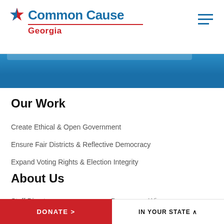[Figure (logo): Common Cause Georgia logo with red star and blue text, red underline, and red Georgia subtext]
[Figure (other): Blue gradient banner strip]
Our Work
Create Ethical & Open Government
Ensure Fair Districts & Reflective Democracy
Expand Voting Rights & Election Integrity
About Us
Staff Directory
Democracy Wire
Media Center
Resources
News Clips
Careers & Opportunities
Financials
National Governing Board
National Staff Directory
Facebook
DONATE >    IN YOUR STATE ^